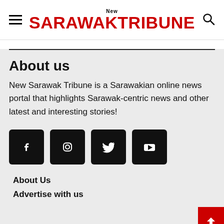New Sarawak Tribune
About us
New Sarawak Tribune is a Sarawakian online news portal that highlights Sarawak-centric news and other latest and interesting stories!
[Figure (other): Social media icons row: Facebook, Instagram, Twitter, YouTube — each as a black rounded square button with white icon]
About Us
Advertise with us